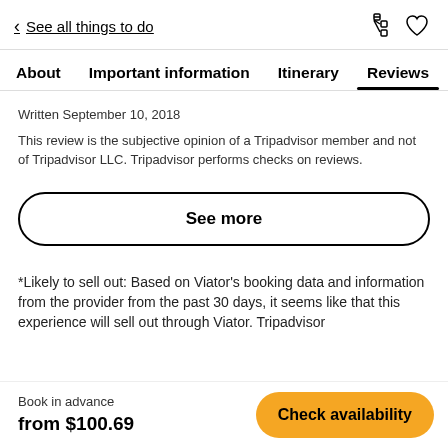< See all things to do
About  Important information  Itinerary  Reviews
Written September 10, 2018
This review is the subjective opinion of a Tripadvisor member and not of Tripadvisor LLC. Tripadvisor performs checks on reviews.
See more
*Likely to sell out: Based on Viator's booking data and information from the provider from the past 30 days, it seems likely that this experience will sell out through Viator. Tripadvisor...
Book in advance
from $100.69